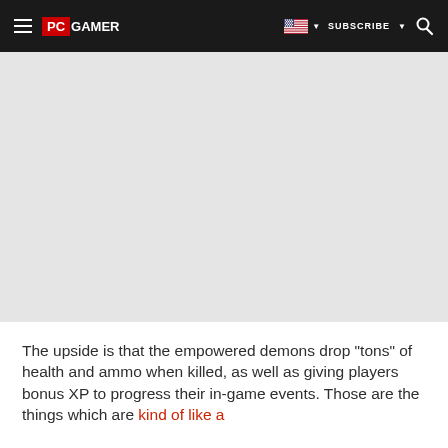PC GAMER | SUBSCRIBE
[Figure (other): Gray advertisement placeholder area]
The upside is that the empowered demons drop "tons" of health and ammo when killed, as well as giving players bonus XP to progress their in-game events. Those are the things which are kind of like a